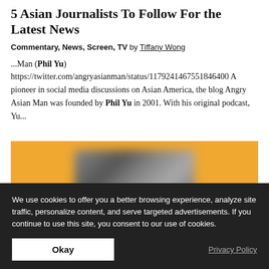5 Asian Journalists To Follow For the Latest News
Commentary, News, Screen, TV  by Tiffany Wong
...Man (Phil Yu) https://twitter.com/angryasianman/status/1179241467551846400 A pioneer in social media discussions on Asian America, the blog Angry Asian Man was founded by Phil Yu in 2001. With his original podcast, Yu...
[Figure (photo): Orange/yellow background with a blurred image in the center]
We use cookies to offer you a better browsing experience, analyze site traffic, personalize content, and serve targeted advertisements. If you continue to use this site, you consent to our use of cookies.
Okay
Privacy Policy